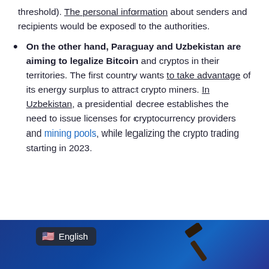threshold). The personal information about senders and recipients would be exposed to the authorities.
On the other hand, Paraguay and Uzbekistan are aiming to legalize Bitcoin and cryptos in their territories. The first country wants to take advantage of its energy surplus to attract crypto miners. In Uzbekistan, a presidential decree establishes the need to issue licenses for cryptocurrency providers and mining pools, while legalizing the crypto trading starting in 2023.
[Figure (photo): Image with blue background showing a gavel (judge's hammer), with an English language badge in the top left corner showing a US flag icon and the word 'English'.]